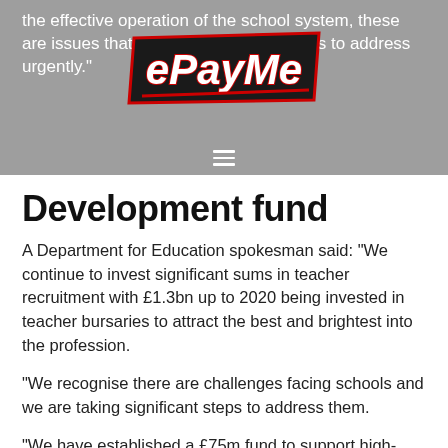the effective operation of the school system, these are issues that the [ePayMe logo] needs to address urgently.
[Figure (logo): ePayMe logo — stylized bold white italic text with red and black outline on dark background]
Development fund
A Department for Education spokesman said: “We continue to invest significant sums in teacher recruitment with £1.3bn up to 2020 being invested in teacher bursaries to attract the best and brightest into the profession.
“We recognise there are challenges facing schools and we are taking significant steps to address them.
“We have established a £75m fund to support high-quality professional development in those schools where teacher retention is an issue, and we are making it easier to advertise vacancies.